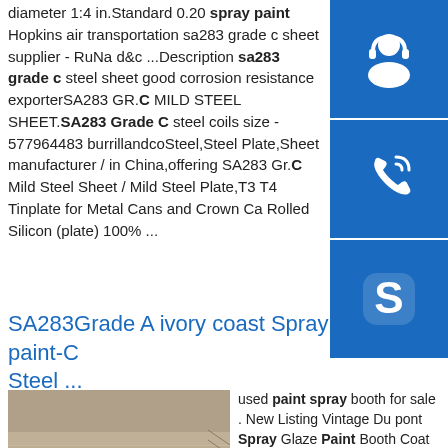diameter 1:4 in.Standard 0.20 spray paint Hopkins air transportation sa283 grade c sheet supplier - RuNa d&c ...Description sa283 grade c steel sheet good corrosion resistance exporterSA283 GR.C MILD STEEL SHEET.SA283 Grade C steel coils size - 577964483 burrillandcoSteel,Steel Plate,Sheet manufacturer / in China,offering SA283 Gr.C Mild Steel Sheet / Mild Steel Plate,T3 T4 Tinplate for Metal Cans and Crown Caps,Cold Rolled Silicon (plate) 100% ...
[Figure (illustration): Blue square button with headset/customer service icon (white)]
[Figure (illustration): Blue square button with phone/call icon (white)]
[Figure (illustration): Blue square button with Skype 'S' logo (white)]
SA283Grade A ivory coast Spray paint-C Steel ...
[Figure (photo): Stack of metal steel plates/sheets photographed in industrial setting]
used paint spray booth for sale . New Listing Vintage Du pont Spray Glaze Paint Booth Coat Knee Length Lab Coat.Pre-Owned.$70.00.Time left 6d 19h left.0 bids +$8.40